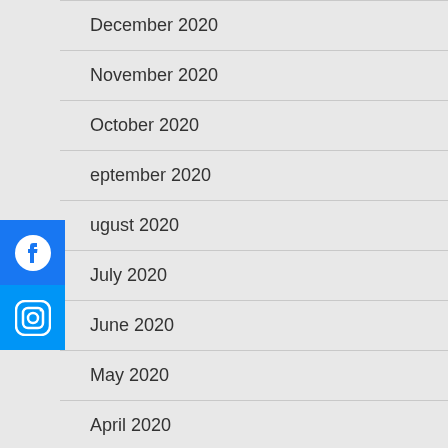December 2020
November 2020
October 2020
September 2020
August 2020
July 2020
June 2020
May 2020
April 2020
[Figure (logo): Facebook social media button (blue square with white Facebook 'f' circle icon)]
[Figure (logo): Instagram social media button (blue square with white Instagram camera icon)]